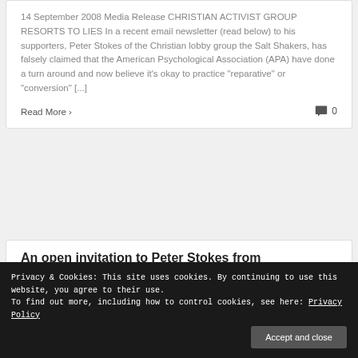14 September 2008 Media Release CHRISTIAN ACTIVIST GROUP RESORTS TO LIES In a recent email newsletter (read below) to his supporters, Peter Stokes of the Christian lobby group the Salt Shakers, has falsely claimed that the American Psychological Association (APA) have done a turn around and now believe it's okay to practice "reparative" or "conversion" [...]
Read More › 0
An open invitation to Peter Stokes from
Privacy & Cookies: This site uses cookies. By continuing to use this website, you agree to their use.
To find out more, including how to control cookies, see here: Privacy Policy
Accept and close